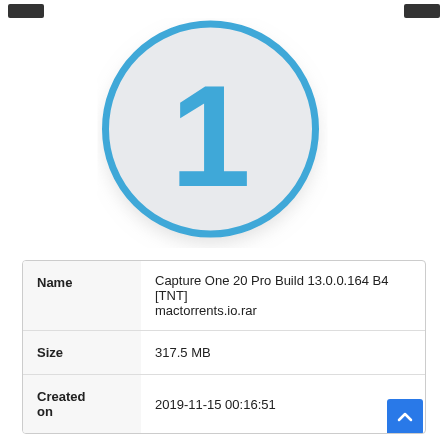[Figure (logo): Circular app icon with light gray background, blue border ring, and large blue number '1' in the center. Shadow beneath the circle.]
| Field | Value |
| --- | --- |
| Name | Capture One 20 Pro Build 13.0.0.164 B4 [TNT]
mactorrents.io.rar |
| Size | 317.5 MB |
| Created on | 2019-11-15 00:16:51 |